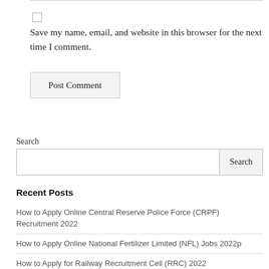Save my name, email, and website in this browser for the next time I comment.
Post Comment
Search
Recent Posts
How to Apply Online Central Reserve Police Force (CRPF) Recruitment 2022
How to Apply Online National Fertilizer Limited (NFL) Jobs 2022p
How to Apply for Railway Recruitment Cell (RRC) 2022
Download Assam Direct Recruitment Admit Card 2022